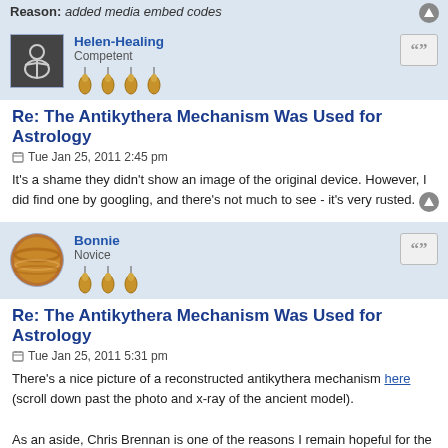Reason: added media embed codes
Helen-Healing
Competent
Re: The Antikythera Mechanism Was Used for Astrology
Tue Jan 25, 2011 2:45 pm
It's a shame they didn't show an image of the original device. However, I did find one by googling, and there's not much to see - it's very rusted.
Bonnie
Novice
Re: The Antikythera Mechanism Was Used for Astrology
Tue Jan 25, 2011 5:31 pm
There's a nice picture of a reconstructed antikythera mechanism here (scroll down past the photo and x-ray of the ancient model).

As an aside, Chris Brennan is one of the reasons I remain hopeful for the future of thought on this planet. He is a very young man, and one of the